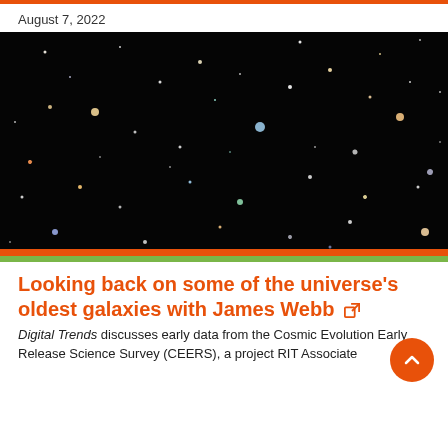August 7, 2022
[Figure (photo): Deep space photograph showing numerous distant galaxies of various shapes and colors against a black background, resembling a Hubble or JWST deep field image.]
Looking back on some of the universe's oldest galaxies with James Webb
Digital Trends discusses early data from the Cosmic Evolution Early Release Science Survey (CEERS), a project RIT Associate